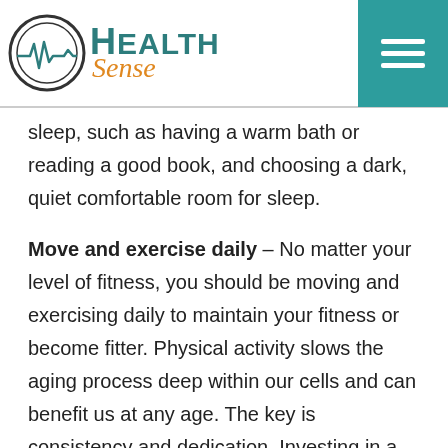HealthSense
sleep, such as having a warm bath or reading a good book, and choosing a dark, quiet comfortable room for sleep.
Move and exercise daily – No matter your level of fitness, you should be moving and exercising daily to maintain your fitness or become fitter. Physical activity slows the aging process deep within our cells and can benefit us at any age. The key is consistency and dedication. Investing in a trainer or joining a group where the habit of regular exercise is supported and reinforced is probably one of the wisest investments in your health.
Stay connected – Cultivating and nurturing strong happy relationships with family, friends (old and new) and your